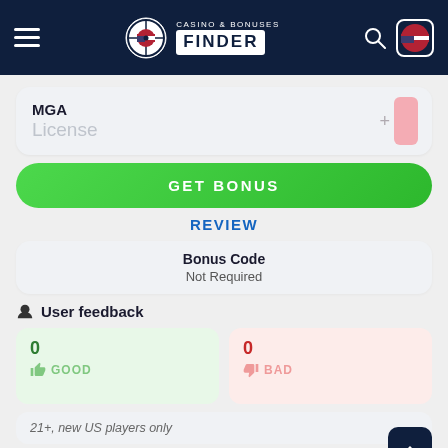CASINO & BONUSES FINDER
MGA
License
GET BONUS
REVIEW
Bonus Code
Not Required
User feedback
0
GOOD
0
BAD
21+, new US players only